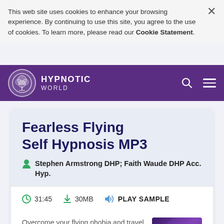This web site uses cookies to enhance your browsing experience. By continuing to use this site, you agree to the use of cookies. To learn more, please read our Cookie Statement.
HYPNOTIC WORLD
Fearless Flying Self Hypnosis MP3
Stephen Armstrong DHP; Faith Waude DHP Acc. Hyp.
31:45   30MB   PLAY SAMPLE
Overcome your flying phobia and travel without a fear of
[Figure (illustration): Product image for Fearless Flying hypnosis MP3 with purple swirl background and text 'Fearless Flying']